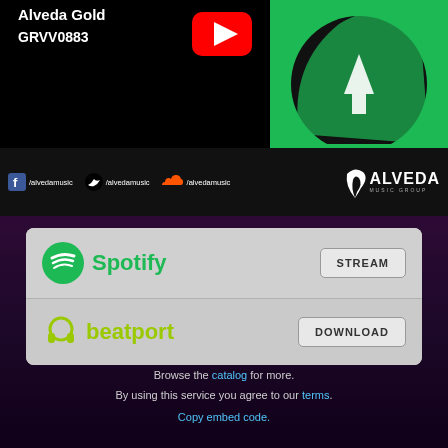Alveda Gold
GRVV0883
[Figure (logo): YouTube play button red icon]
[Figure (logo): Green background with vinyl record / Beatport-style logo]
[Figure (logo): Facebook icon with /alvedamusic text]
[Figure (logo): Twitter icon with /alvedamusic text]
[Figure (logo): SoundCloud icon with /alvedamusic text]
[Figure (logo): Alveda Music Group logo with flame/bird icon]
[Figure (logo): Spotify logo with green circle icon]
STREAM
[Figure (logo): Beatport logo with headphone icon in yellow-green]
DOWNLOAD
Browse the catalog for more.
By using this service you agree to our terms.
Copy embed code.